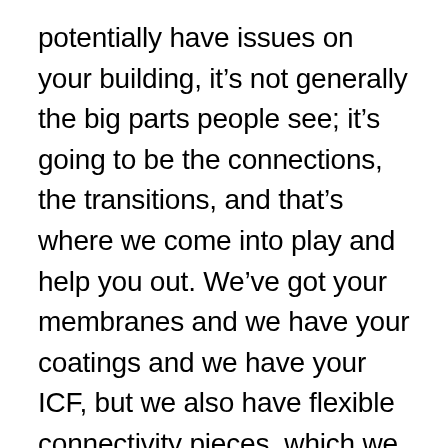potentially have issues on your building, it's not generally the big parts people see; it's going to be the connections, the transitions, and that's where we come into play and help you out. We've got your membranes and we have your coatings and we have your ICF, but we also have flexible connectivity pieces, which we all know can be those points of concern or issues later on.
The biggest thing is just making sure our customers understand that we're a resource, and we've always and will forever